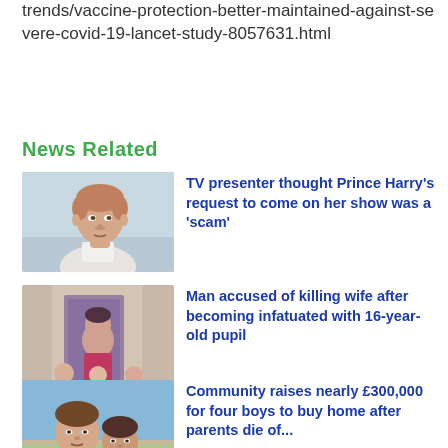trends/vaccine-protection-better-maintained-against-severe-covid-19-lancet-study-8057631.html
News Related
[Figure (photo): Portrait photo of Prince Harry in a light suit]
TV presenter thought Prince Harry's request to come on her show was a 'scam'
[Figure (photo): Family photo with woman and children near a doorway]
Man accused of killing wife after becoming infatuated with 16-year-old pupil
[Figure (photo): Two people taking a selfie outdoors]
Community raises nearly £300,000 for four boys to buy home after parents die of...